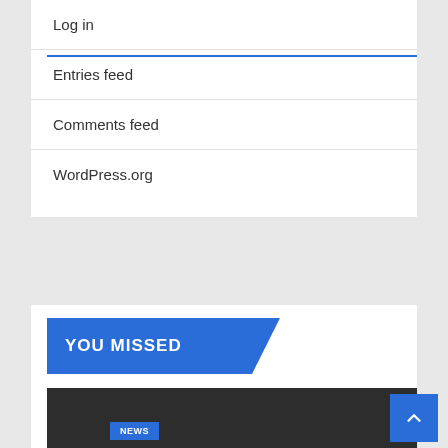Log in
Entries feed
Comments feed
WordPress.org
YOU MISSED
[Figure (screenshot): Dark image placeholder with NEWS badge label at bottom left]